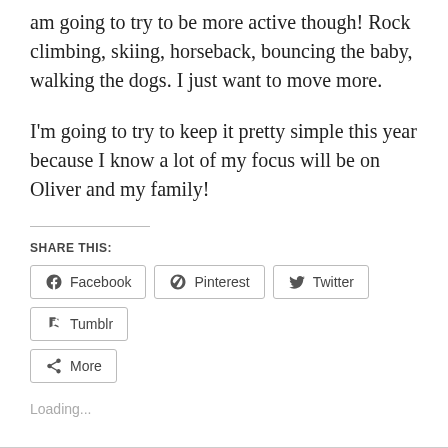am going to try to be more active though! Rock climbing, skiing, horseback, bouncing the baby, walking the dogs. I just want to move more.
I'm going to try to keep it pretty simple this year because I know a lot of my focus will be on Oliver and my family!
SHARE THIS:
[Figure (other): Social share buttons: Facebook, Pinterest, Twitter, Tumblr, More]
Loading...